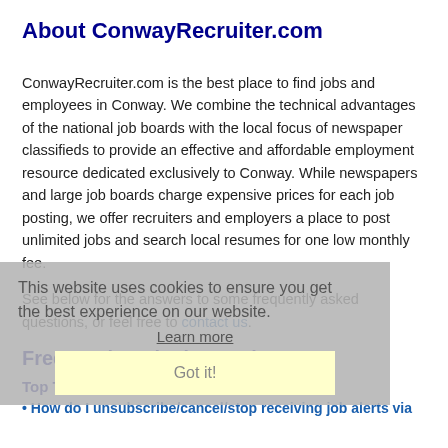About ConwayRecruiter.com
ConwayRecruiter.com is the best place to find jobs and employees in Conway. We combine the technical advantages of the national job boards with the local focus of newspaper classifieds to provide an effective and affordable employment resource dedicated exclusively to Conway. While newspapers and large job boards charge expensive prices for each job posting, we offer recruiters and employers a place to post unlimited jobs and search local resumes for one low monthly fee.
See below for the answers to some frequently asked questions, or feel free to contact us.
Frequently Asked Questions
Top Three Questions
How do I unsubscribe/cancel/stop receiving job alerts via